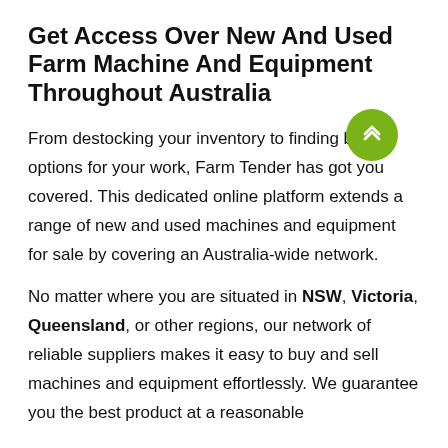Get Access Over New And Used Farm Machine And Equipment Throughout Australia
From destocking your inventory to finding better options for your work, Farm Tender has got you covered. This dedicated online platform extends a range of new and used machines and equipment for sale by covering an Australia-wide network.
No matter where you are situated in NSW, Victoria, Queensland, or other regions, our network of reliable suppliers makes it easy to buy and sell machines and equipment effortlessly. We guarantee you the best product at a reasonable